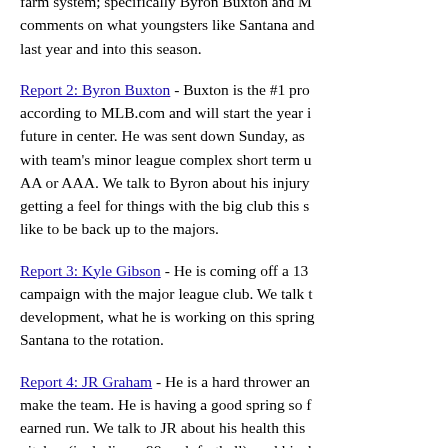farm system; specifically Byron Buxton and M... comments on what youngsters like Santana and... last year and into this season.
Report 2: Byron Buxton - Buxton is the #1 pro... according to MLB.com and will start the year i... future in center. He was sent down Sunday, as... with team's minor league complex short term u... AA or AAA. We talk to Byron about his injury... getting a feel for things with the big club this s... like to be back up to the majors.
Report 3: Kyle Gibson - He is coming off a 13... campaign with the major league club. We talk t... development, what he is working on this spring... Santana to the rotation.
Report 4: JR Graham - He is a hard thrower an... make the team. He is having a good spring so f... earned run. We talk to JR about his health this... pitches (including a 98 mph fastball), and his d... Graham also threw another scoreless inning W...
Report 5: Miguel Sano - He is perhaps the top... baseball. We talk to him about coming back fro...